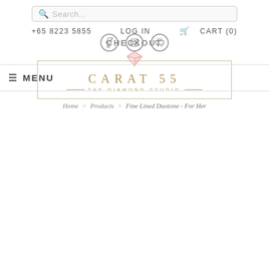Search...
+65 8223 5855  LOG IN  CART (0)  CHECKOUT
[Figure (logo): Carat 55 The Diamond Studio logo with pink diamond icon above a bordered box containing the brand name in gold lettering]
MENU
Home > Products > Fine Lined Duotone - For Her